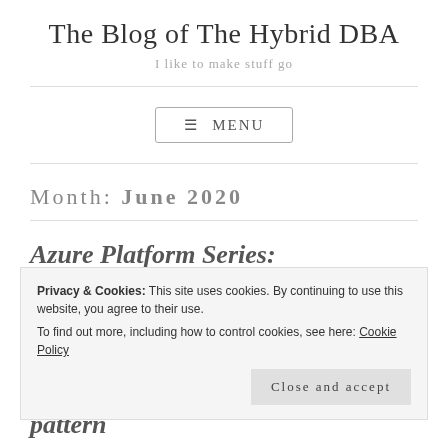The Blog of The Hybrid DBA
I like to make stuff go
MENU
Month: June 2020
Azure Platform Series:
Privacy & Cookies: This site uses cookies. By continuing to use this website, you agree to their use.
To find out more, including how to control cookies, see here: Cookie Policy
Close and accept